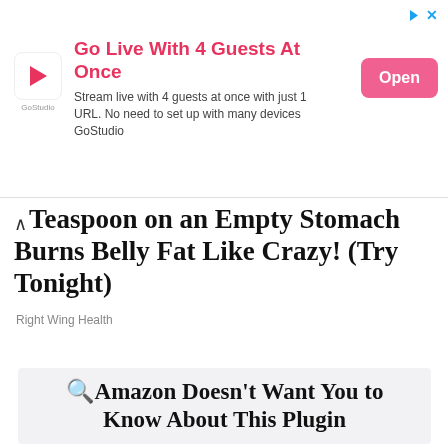[Figure (screenshot): Advertisement banner for GoStudio: Go Live With 4 Guests At Once. Stream live with 4 guests at once with just 1 URL. No need to set up with many devices. GoStudio. Open button.]
Teaspoon on an Empty Stomach Burns Belly Fat Like Crazy! (Try Tonight)
Right Wing Health
🔎Amazon Doesn't Want You to Know About This Plugin